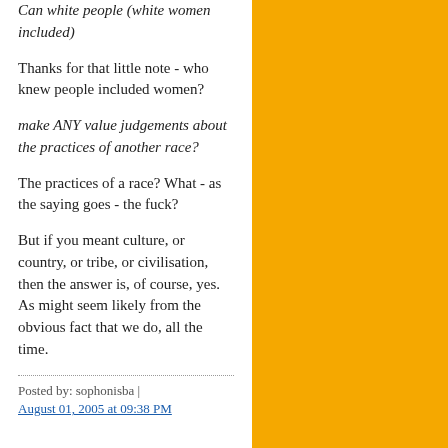Can white people (white women included)
Thanks for that little note - who knew people included women?
make ANY value judgements about the practices of another race?
The practices of a race? What - as the saying goes - the fuck?
But if you meant culture, or country, or tribe, or civilisation, then the answer is, of course, yes. As might seem likely from the obvious fact that we do, all the time.
Posted by: sophonisba | August 01, 2005 at 09:38 PM